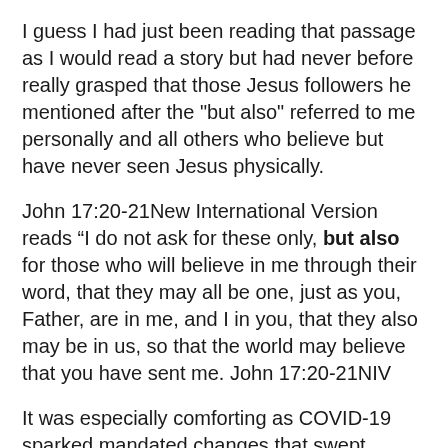I guess I had just been reading that passage as I would read a story but had never before really grasped that those Jesus followers he mentioned after the "but also" referred to me personally and all others who believe but have never seen Jesus physically.
John 17:20-21New International Version reads “I do not ask for these only, but also for those who will believe in me through their word, that they may all be one, just as you, Father, are in me, and I in you, that they also may be in us, so that the world may believe that you have sent me. John 17:20-21NIV
It was especially comforting as COVID-19 sparked mandated changes that swept through our lives.That experience confirms for me once again the absolute necessity for my reading through God's Word each year.
I am amazed at and thankful for how each year different Bible passages pop out for me. They flood